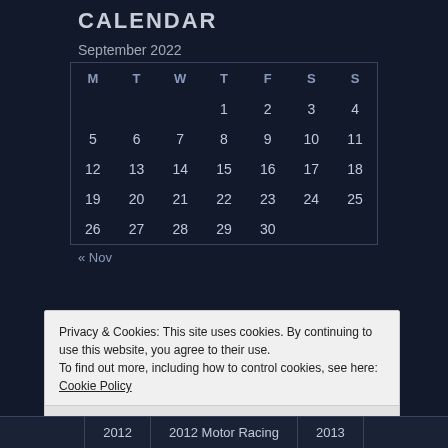CALENDAR
September 2022
| M | T | W | T | F | S | S |
| --- | --- | --- | --- | --- | --- | --- |
|  |  |  | 1 | 2 | 3 | 4 |
| 5 | 6 | 7 | 8 | 9 | 10 | 11 |
| 12 | 13 | 14 | 15 | 16 | 17 | 18 |
| 19 | 20 | 21 | 22 | 23 | 24 | 25 |
| 26 | 27 | 28 | 29 | 30 |  |  |
« Nov
Privacy & Cookies: This site uses cookies. By continuing to use this website, you agree to their use.
To find out more, including how to control cookies, see here: Cookie Policy
Close and accept
2012 | 2012 Motor Racing | 2013